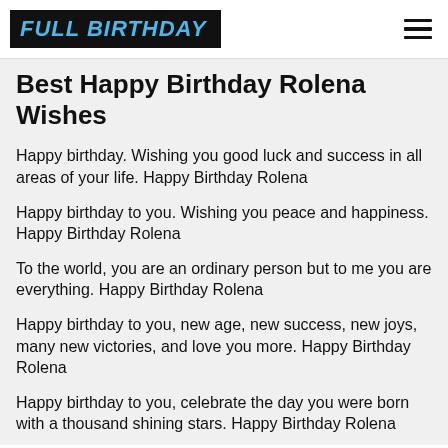FULL BIRTHDAY
Best Happy Birthday Rolena Wishes
Happy birthday. Wishing you good luck and success in all areas of your life. Happy Birthday Rolena
Happy birthday to you. Wishing you peace and happiness. Happy Birthday Rolena
To the world, you are an ordinary person but to me you are everything. Happy Birthday Rolena
Happy birthday to you, new age, new success, new joys, many new victories, and love you more. Happy Birthday Rolena
Happy birthday to you, celebrate the day you were born with a thousand shining stars. Happy Birthday Rolena